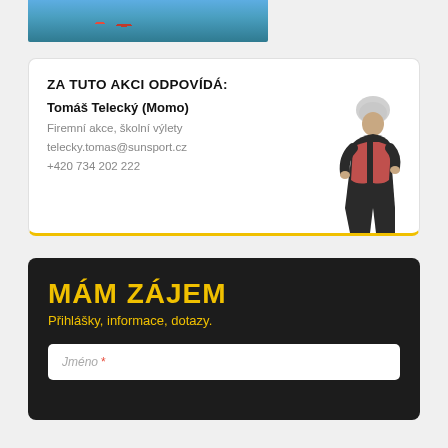[Figure (photo): Partial photo of kayakers on water, cropped at top of page]
ZA TUTO AKCI ODPOVÍDÁ:
Tomáš Telecký (Momo)
Firemní akce, školní výlety
telecky.tomas@sunsport.cz
+420 734 202 222
[Figure (photo): Photo of a person in kayaking gear (helmet, life vest, black jacket)]
MÁM ZÁJEM
Přihlášky, informace, dotazy.
Jméno *